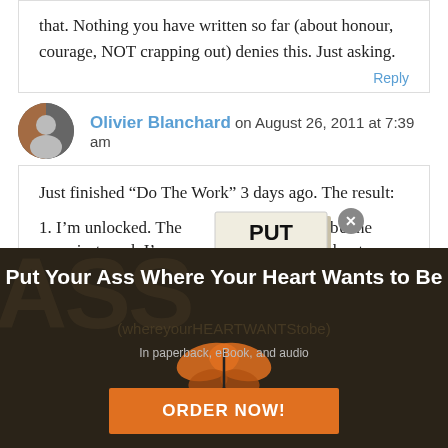that. Nothing you have written so far (about honour, courage, NOT crapping out) denies this. Just asking.
Reply
Olivier Blanchard on August 26, 2011 at 7:39 am
Just finished “Do The Work” 3 days ago. The result:
1. I’m unlocked. The writing might be the crappiest work I’ve e... but I’ll worry about
[Figure (illustration): Book cover popup for 'Put Your Ass (where your heart wants to be)' with a butterfly image, with a close (x) button]
[Figure (illustration): Dark brown/black banner background with large stylized text 'ASS (whereyourheartWANTStobe)' and a butterfly graphic]
Put Your Ass Where Your Heart Wants to Be
In paperback, eBook, and audio
ORDER NOW!